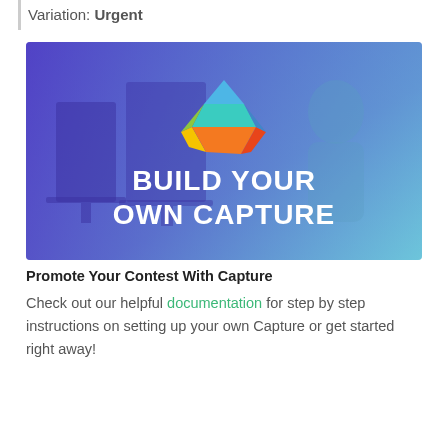Variation: Urgent
[Figure (illustration): Blue/purple gradient banner image with a geometric colorful gem/logo icon and bold white text reading 'BUILD YOUR OWN CAPTURE', with a blurred background of a person working at a desk with monitors.]
Promote Your Contest With Capture
Check out our helpful documentation for step by step instructions on setting up your own Capture or get started right away!